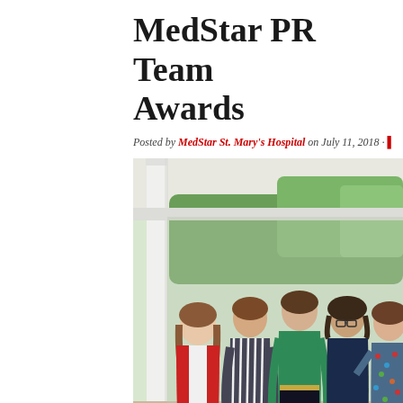MedStar PR Team Awards
Posted by MedStar St. Mary's Hospital on July 11, 2018 ·
[Figure (photo): Group photo of five women standing together outdoors on a porch/colonnade with white columns and greenery in the background. From left: woman in red cardigan and black pants, woman in striped dress, woman in green top with black skirt, woman in navy top with gray pants wearing glasses, woman in floral top and black pants.]